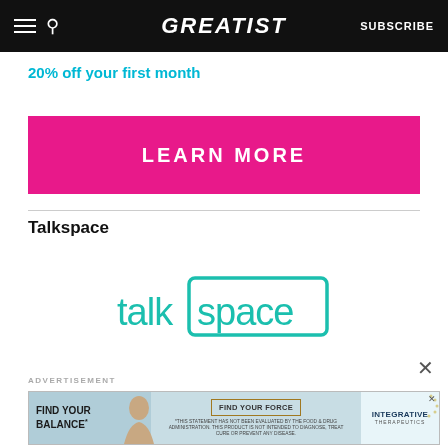GREATIST | SUBSCRIBE
20% off your first month
LEARN MORE
Talkspace
[Figure (logo): Talkspace logo: stylized 'talk' text followed by 'space' text inside a teal rectangle outline]
×
ADVERTISEMENT
[Figure (infographic): Advertisement banner: 'FIND YOUR BALANCE*' with woman profile image on left, 'FIND YOUR FORCE' button in center, 'INTEGRATIVE THERAPEUTICS' logo with dot circle on right, small disclaimer text at bottom]